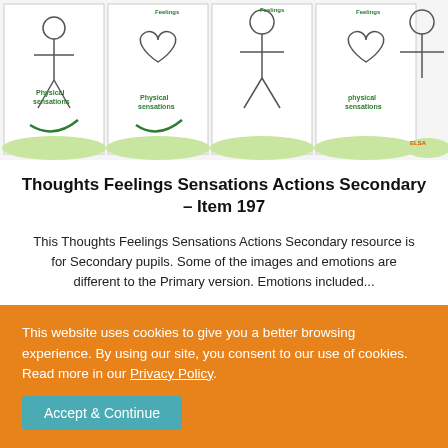[Figure (illustration): Preview image showing multiple worksheet panels with heart outlines, person outlines, green 'Physical sensations' text labels, and a green wavy grass/ground element at the bottom of each panel. Labeled 'Feelings' at the top.]
Thoughts Feelings Sensations Actions Secondary – Item 197
This Thoughts Feelings Sensations Actions Secondary resource is for Secondary pupils. Some of the images and emotions are different to the Primary version. Emotions included...
£2.00
This website uses cookies to give you a better browsing experience. By using our site, you consent to our use of cookies. Read more in our Privacy Policy.
Accept & Continue